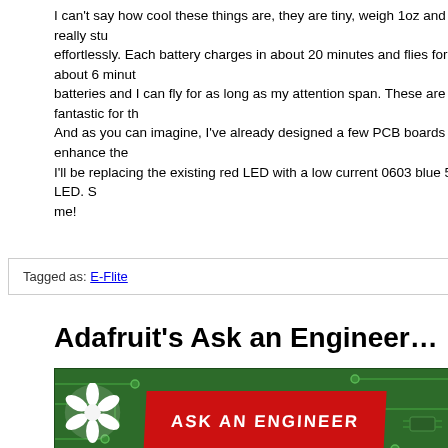I can't say how cool these things are, they are tiny, weigh 1oz and are really sturdy effortlessly. Each battery charges in about 20 minutes and flies for about 6 minutes batteries and I can fly for as long as my attention span. These are fantastic for the And as you can imagine, I've already designed a few PCB boards to enhance the I'll be replacing the existing red LED with a low current 0603 blue 5MA LED. S me!
Tagged as: E-Flite
Adafruit's Ask an Engineer…
[Figure (photo): Adafruit 'Ask an Engineer' banner on green PCB background with red banner text and flower logo. Text reads 'ASK AN ENGINEER' and 'Every Saturday 10pm EST']
Image curtesy of Adafruit.com
I stopped in last night to the live streamming "Ask an Engineer" over at the Adaf questions and insight into the industry. Found out that I can't find an ATMEGA3 being shut down and the workers decided to get strike indefinitely when they fo discussion was very intresting and it was quite neat to see the very automated sh homegrown systems. They gave everyone who who was on the chat a 10% off coupo kit for myself. Have been reading alot about boost converters alot lately and figu my own. I have some ideas on using a home-grown boost converter and a VFD